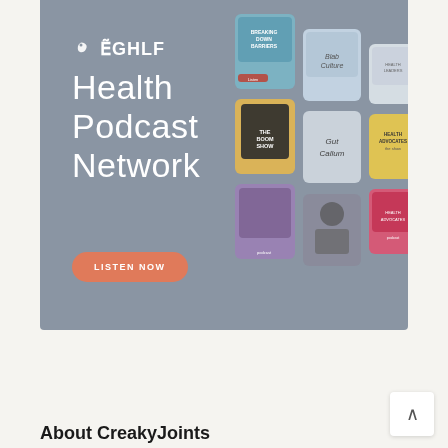[Figure (screenshot): GHLF Health Podcast Network advertisement banner with a slate-blue background. Left side shows the GHLF logo (bird icon + text), then large white text reading 'Health Podcast Network', and an orange 'LISTEN NOW' button. Right side shows a collage of podcast cover art cards arranged in a 3D perspective grid.]
About CreakyJoints